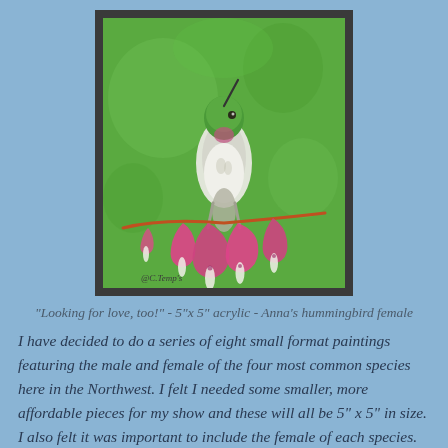[Figure (illustration): Painting of Anna's hummingbird female perched on a branch with hanging bleeding heart flowers against a green background. Signed @C.Temp's.]
"Looking for love, too!" - 5"x 5" acrylic - Anna's hummingbird female
I have decided to do a series of eight small format paintings featuring the male and female of the four most common species here in the Northwest. I felt I needed some smaller, more affordable pieces for my show and these will all be 5" x 5" in size. I also felt it was important to include the female of each species.